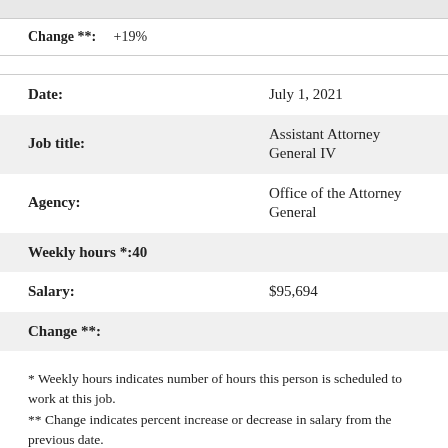Change **: +19%
| Date: | July 1, 2021 |
| Job title: | Assistant Attorney General IV |
| Agency: | Office of the Attorney General |
| Weekly hours *: | 40 |
| Salary: | $95,694 |
| Change **: |  |
* Weekly hours indicates number of hours this person is scheduled to work at this job.
** Change indicates percent increase or decrease in salary from the previous date.